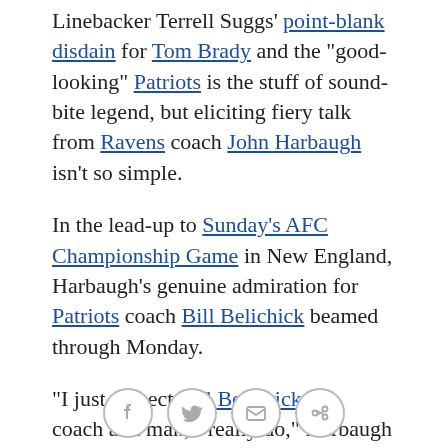Linebacker Terrell Suggs' point-blank disdain for Tom Brady and the "good-looking" Patriots is the stuff of sound-bite legend, but eliciting fiery talk from Ravens coach John Harbaugh isn't so simple.
In the lead-up to Sunday's AFC Championship Game in New England, Harbaugh's genuine admiration for Patriots coach Bill Belichick beamed through Monday.
"I just respect Bill Belichick as a coach and man, I really do," Harbaugh told reporters. "He's the greatest coach in our league right now, and that's proven. That's why you get so excited to play against him as a coach."
John's younger brother, Jim, the 49ers' (somewhat intense) first-year coach, ruffled some contemporaries'